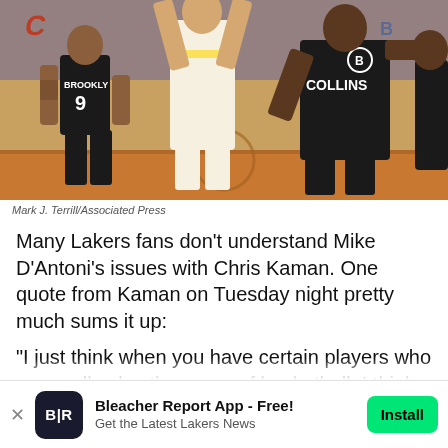[Figure (photo): Basketball game photo showing Brooklyn Nets players (including player number 9 in black Brooklyn jersey and Collins in black jersey) versus a Lakers player in white/yellow. The scene appears to be during a game at a basketball court.]
Mark J. Terrill/Associated Press
Many Lakers fans don't understand Mike D'Antoni's issues with Chris Kaman. One quote from Kaman on Tuesday night pretty much sums it up:
"I just think when you have certain players who can really play the game of basketball, I think you cater to their style."
Bleacher Report App - Free! Get the Latest Lakers News